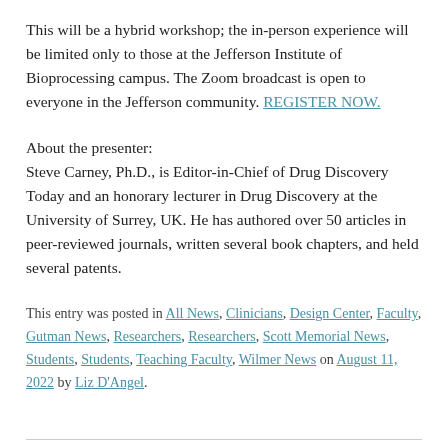This will be a hybrid workshop; the in-person experience will be limited only to those at the Jefferson Institute of Bioprocessing campus. The Zoom broadcast is open to everyone in the Jefferson community. REGISTER NOW.
About the presenter:
Steve Carney, Ph.D., is Editor-in-Chief of Drug Discovery Today and an honorary lecturer in Drug Discovery at the University of Surrey, UK. He has authored over 50 articles in peer-reviewed journals, written several book chapters, and held several patents.
This entry was posted in All News, Clinicians, Design Center, Faculty, Gutman News, Researchers, Researchers, Scott Memorial News, Students, Students, Teaching Faculty, Wilmer News on August 11, 2022 by Liz D'Angel.